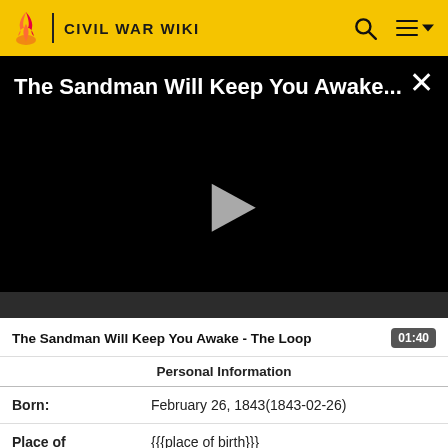CIVIL WAR WIKI
[Figure (screenshot): Video player showing 'The Sandman Will Keep You Awake...' with a play button on a black background and a close (X) button in the top right corner.]
The Sandman Will Keep You Awake - The Loop  01:40
| Personal Information |
| --- |
| Born: | February 26, 1843(1843-02-26) |
| Place of Birth: | {{{place of birth}}} |